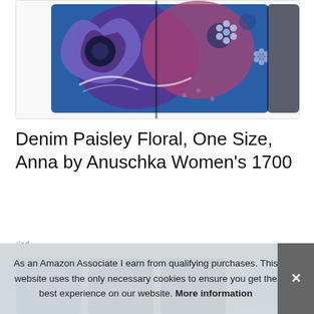[Figure (photo): Partial view of a colorful hand-painted leather wallet with blue, purple, pink, and brown floral/paisley design on a white background with a thin border.]
Denim Paisley Floral, One Size, Anna by Anuschka Women's 1700
#ad
[Figure (photo): Row of four product thumbnail images showing different views or related products of women's wallets/purses.]
As an Amazon Associate I earn from qualifying purchases. This website uses the only necessary cookies to ensure you get the best experience on our website. More information